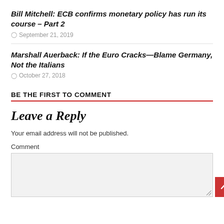Bill Mitchell: ECB confirms monetary policy has run its course – Part 2
September 21, 2019
Marshall Auerback: If the Euro Cracks—Blame Germany, Not the Italians
October 27, 2018
BE THE FIRST TO COMMENT
Leave a Reply
Your email address will not be published.
Comment